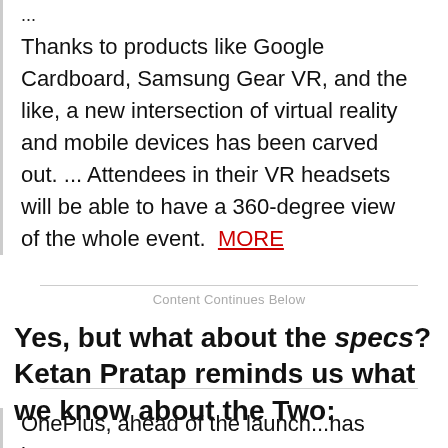... Thanks to products like Google Cardboard, Samsung Gear VR, and the like, a new intersection of virtual reality and mobile devices has been carved out. ... Attendees in their VR headsets will be able to have a 360-degree view of the whole event.  MORE
Content Continues Below
Yes, but what about the specs? Ketan Pratap reminds us what we know about the Two:
OnePlus, ahead of the launch...has been